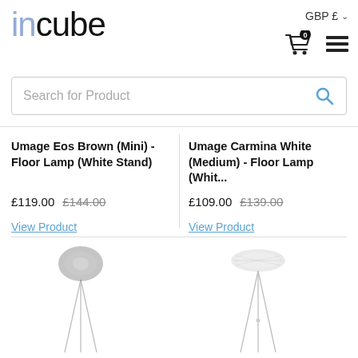[Figure (logo): incube store logo with 'in' in light blue and 'cube' in black]
GBP £
[Figure (illustration): Shopping cart icon with badge showing 0, and hamburger menu icon]
[Figure (screenshot): Search bar with placeholder text 'Search for Product' and blue search icon]
Umage Eos Brown (Mini) - Floor Lamp (White Stand)
£119.00  £144.00
View Product
Umage Carmina White (Medium) - Floor Lamp (Whit...
£109.00  £139.00
View Product
[Figure (photo): Floor lamp with grey fluffy spherical shade on white tripod stand]
[Figure (photo): Floor lamp with white feathered oval shade on white tripod stand]